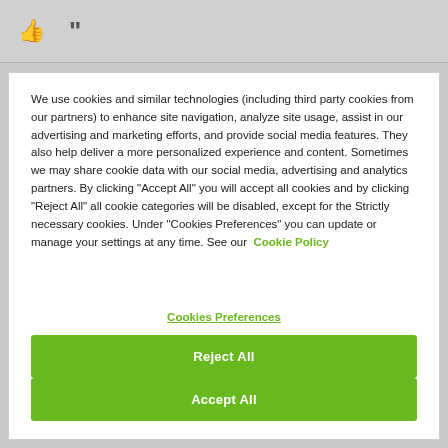[Figure (screenshot): Top grey bar with thumbs up icon and quotation mark icon]
We use cookies and similar technologies (including third party cookies from our partners) to enhance site navigation, analyze site usage, assist in our advertising and marketing efforts, and provide social media features. They also help deliver a more personalized experience and content. Sometimes we may share cookie data with our social media, advertising and analytics partners. By clicking "Accept All" you will accept all cookies and by clicking "Reject All" all cookie categories will be disabled, except for the Strictly necessary cookies. Under "Cookies Preferences" you can update or manage your settings at any time. See our Cookie Policy
Cookies Preferences
Reject All
Accept All